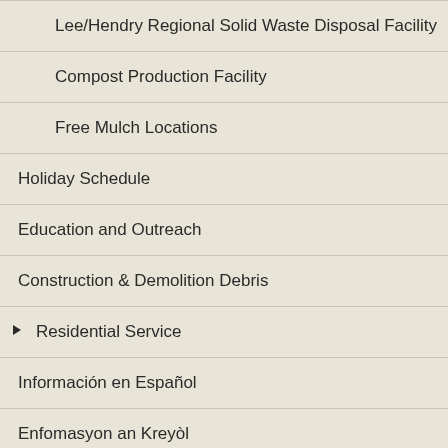Lee/Hendry Regional Solid Waste Disposal Facility
Compost Production Facility
Free Mulch Locations
Holiday Schedule
Education and Outreach
Construction & Demolition Debris
▶ Residential Service
Información en Español
Enfomasyon an Kreyòl
▶ Business (Commercial) Service
▶ Multi-Family (Condos) Service
▶ Solid Waste Rates
▶ About the Solid Waste Department
Hurricane & Disaster Debris Management
Collection Schedule Change